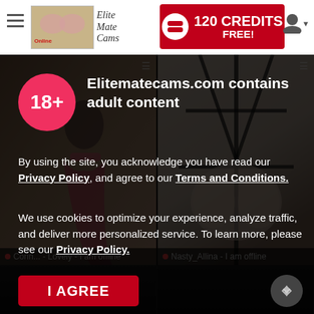EliteMate Cams Online — 120 CREDITS FREE!
[Figure (screenshot): Two webcam model thumbnails side by side. Left: woman in red dress. Right: woman in black lingerie harness.]
Corin... - Lovely - I am offline
Nasty_Allina - I am offline
18+
Elitematecams.com contains adult content
By using the site, you acknowledge you have read our Privacy Policy, and agree to our Terms and Conditions.
We use cookies to optimize your experience, analyze traffic, and deliver more personalized service. To learn more, please see our Privacy Policy.
I AGREE